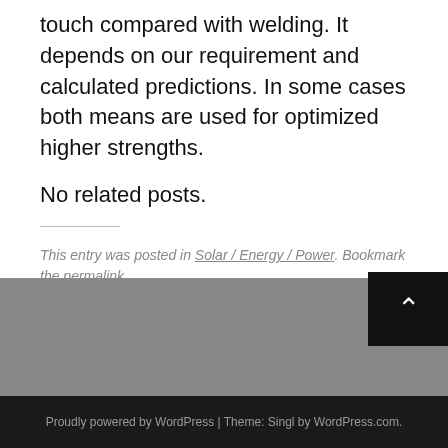touch compared with welding. It depends on our requirement and calculated predictions. In some cases both means are used for optimized higher strengths.
No related posts.
This entry was posted in Solar / Energy / Power. Bookmark the permalink.
Proudly powered by WordPress | Theme: Singl by WordPress.com.